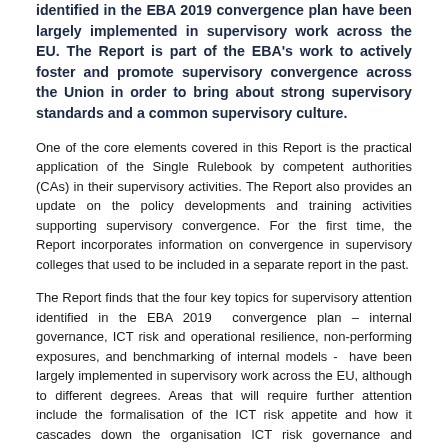identified in the EBA 2019 convergence plan have been largely implemented in supervisory work across the EU. The Report is part of the EBA's work to actively foster and promote supervisory convergence across the Union in order to bring about strong supervisory standards and a common supervisory culture.
One of the core elements covered in this Report is the practical application of the Single Rulebook by competent authorities (CAs) in their supervisory activities. The Report also provides an update on the policy developments and training activities supporting supervisory convergence. For the first time, the Report incorporates information on convergence in supervisory colleges that used to be included in a separate report in the past.
The Report finds that the four key topics for supervisory attention identified in the EBA 2019 convergence plan – internal governance, ICT risk and operational resilience, non-performing exposures, and benchmarking of internal models - have been largely implemented in supervisory work across the EU, although to different degrees. Areas that will require further attention include the formalisation of the ICT risk appetite and how it cascades down the organisation ICT risk governance and controls and the ongoing assessment of the individual and collective suitability of the members of the management bodies.